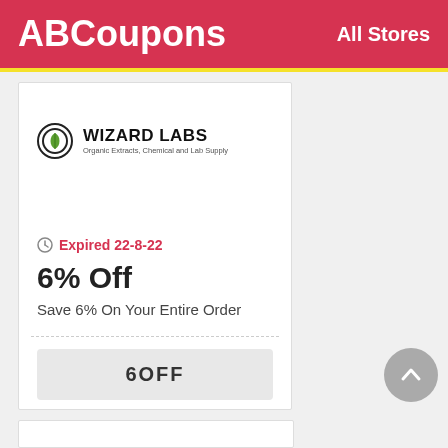ABCoupons  All Stores
[Figure (logo): Wizard Labs logo — green leaf circle icon with text WIZARD LABS and subtitle Organic Extracts, Chemical and Lab Supply]
Expired 22-8-22
6% Off
Save 6% On Your Entire Order
6OFF